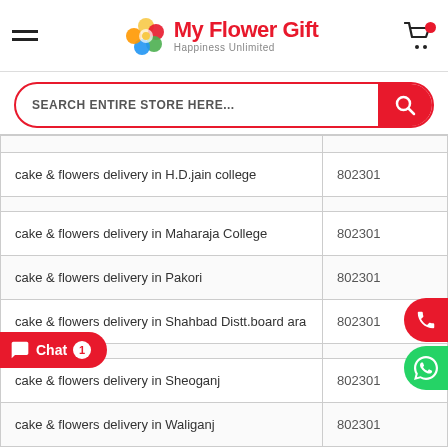My Flower Gift - Happiness Unlimited
SEARCH ENTIRE STORE HERE...
| Location | Pincode |
| --- | --- |
| cake & flowers delivery in H.D.jain college | 802301 |
| cake & flowers delivery in Maharaja College | 802301 |
| cake & flowers delivery in Pakori | 802301 |
| cake & flowers delivery in Shahbad Distt.board ara | 802301 |
| cake & flowers delivery in Sheoganj | 802301 |
| cake & flowers delivery in Waliganj | 802301 |